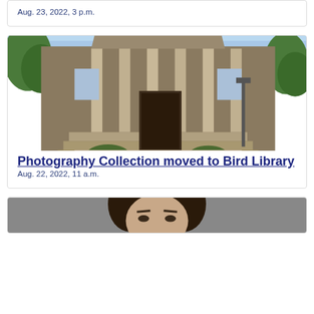Aug. 23, 2022, 3 p.m.
[Figure (photo): Photograph of a neoclassical stone building with columns and dome, surrounded by trees (Bird Library or similar university building)]
Photography Collection moved to Bird Library
Aug. 22, 2022, 11 a.m.
[Figure (photo): Portrait photograph of a person, partially visible at bottom of page]